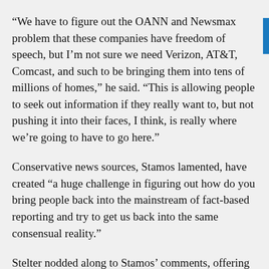“We have to figure out the OANN and Newsmax problem that these companies have freedom of speech, but I’m not sure we need Verizon, AT&T, Comcast, and such to be bringing them into tens of millions of homes,” he said. “This is allowing people to seek out information if they really want to, but not pushing it into their faces, I think, is really where we’re going to have to go here.”
Conservative news sources, Stamos lamented, have created “a huge challenge in figuring out how do you bring people back into the mainstream of fact-based reporting and try to get us back into the same consensual reality.”
Stelter nodded along to Stamos’ comments, offering no pushback.